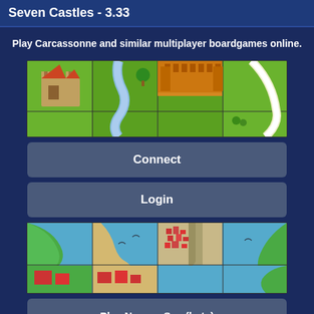Seven Castles - 3.33
Play Carcassonne and similar multiplayer boardgames online.
[Figure (illustration): Four game tiles showing medieval Carcassonne-style board game map: castle tile, river tile, castle city tile, and green grass tile arranged in 2x2 grid]
[Figure (illustration): Connect button UI element]
[Figure (illustration): Login button UI element]
[Figure (illustration): Four game tiles showing Narrow Sea map tiles with blue water, beaches, and red town areas arranged in 2x2 grid]
[Figure (illustration): Play Narrow Sea (beta) button UI element]